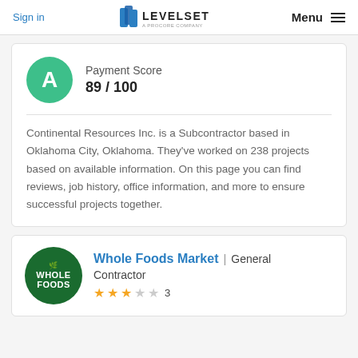Sign in | Levelset A Procore Company | Menu
Payment Score 89 / 100
Continental Resources Inc. is a Subcontractor based in Oklahoma City, Oklahoma. They've worked on 238 projects based on available information. On this page you can find reviews, job history, office information, and more to ensure successful projects together.
Whole Foods Market | General Contractor ★★★☆☆ 3